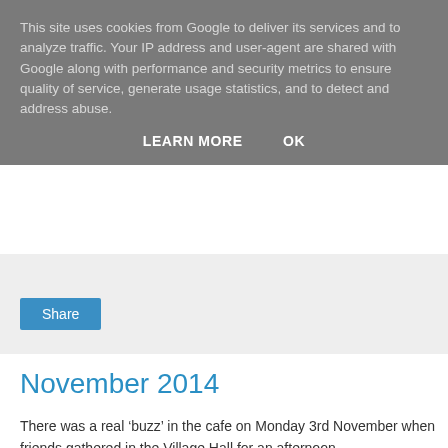This site uses cookies from Google to deliver its services and to analyze traffic. Your IP address and user-agent are shared with Google along with performance and security metrics to ensure quality of service, generate usage statistics, and to detect and address abuse.
LEARN MORE   OK
Share
November 2014
There was a real ‘buzz’ in the cafe on Monday 3rd November when friends gathered in the Village Hall for an afternoon